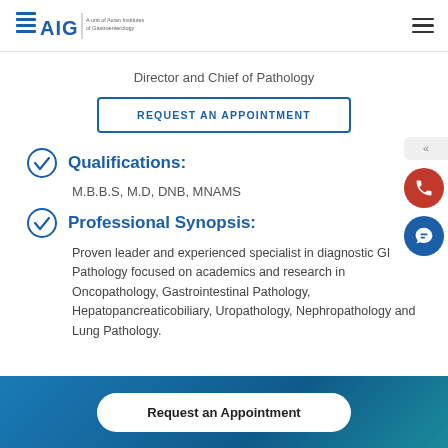AIG Hospitals — A unit of Asian Institutes of Gastroenterology
Director and Chief of Pathology
REQUEST AN APPOINTMENT
Qualifications:
M.B.B.S, M.D, DNB, MNAMS
Professional Synopsis:
Proven leader and experienced specialist in diagnostic GI Pathology focused on academics and research in Oncopathology, Gastrointestinal Pathology, Hepatopancreaticobiliary, Uropathology, Nephropathology and Lung Pathology.
Request an Appointment